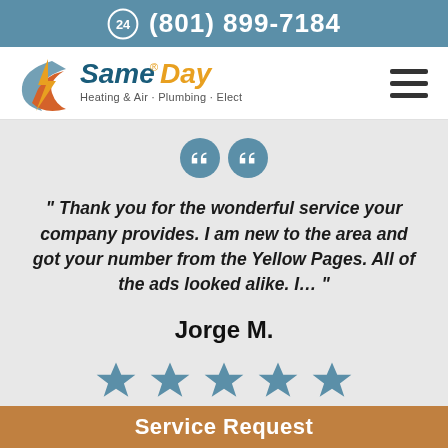(801) 899-7184
[Figure (logo): SameDay Heating & Air · Plumbing · Electrical company logo with orange and teal lightning bolt icon]
"Thank you for the wonderful service your company provides. I am new to the area and got your number from the Yellow Pages. All of the ads looked alike. I…"
Jorge M.
[Figure (illustration): Five teal/blue star rating icons]
Service Request